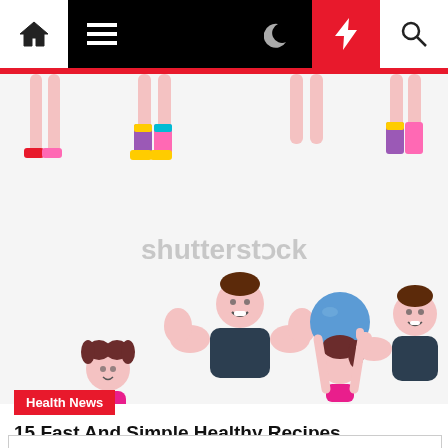Navigation bar with home, menu, moon, bolt, and search icons
[Figure (illustration): Shutterstock watermarked illustration showing cartoon fitness characters: a girl with pigtails, a muscular man flexing, a girl balancing a blue exercise ball, and a muscular man giving thumbs up, plus legs of exercise characters at top]
Health News
15 Fast And Simple Healthy Recipes
irisbahr  3 years ago